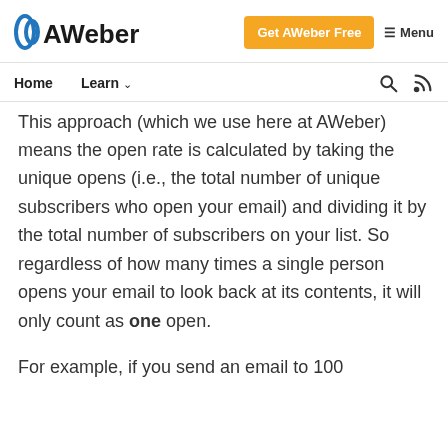AWeber — Get AWeber Free | Menu
Home   Learn ∨
This approach (which we use here at AWeber) means the open rate is calculated by taking the unique opens (i.e., the total number of unique subscribers who open your email) and dividing it by the total number of subscribers on your list. So regardless of how many times a single person opens your email to look back at its contents, it will only count as one open.
For example, if you send an email to 100